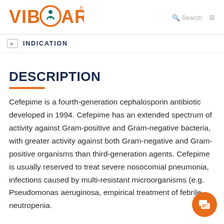VIBCARE
INDICATION
DESCRIPTION
Cefepime is a fourth-generation cephalosporin antibiotic developed in 1994. Cefepime has an extended spectrum of activity against Gram-positive and Gram-negative bacteria, with greater activity against both Gram-negative and Gram-positive organisms than third-generation agents. Cefepime is usually reserved to treat severe nosocomial pneumonia, infections caused by multi-resistant microorganisms (e.g. Pseudomonas aeruginosa, empirical treatment of febrile neutropenia.